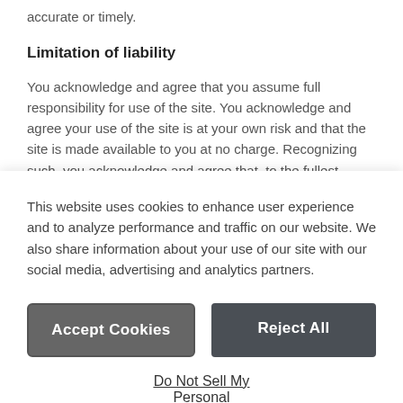accurate or timely.
Limitation of liability
You acknowledge and agree that you assume full responsibility for use of the site. You acknowledge and agree your use of the site is at your own risk and that the site is made available to you at no charge. Recognizing such, you acknowledge and agree that, to the fullest extent permitted by applicable law, neither Ingenico nor its affiliates, suppliers or third party content providers will be
This website uses cookies to enhance user experience and to analyze performance and traffic on our website. We also share information about your use of our site with our social media, advertising and analytics partners.
Accept Cookies
Reject All
Do Not Sell My Personal